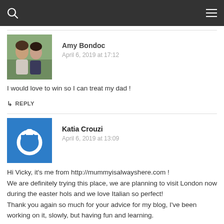[Figure (photo): Profile photo of Amy Bondoc — two young women outdoors]
Amy Bondoc
April 6, 2019 at 17:12
I would love to win so I can treat my dad !
↳ REPLY
[Figure (logo): Blue power button icon avatar for Katia Crouzi]
Katia Crouzi
April 6, 2019 at 13:09
Hi Vicky, it's me from http://mummyisalwayshere.com !
We are definitely trying this place, we are planning to visit London now during the easter hols and we love Italian so perfect!
Thank you again so much for your advice for my blog, I've been working on it, slowly, but having fun and learning.
Kinds regards,